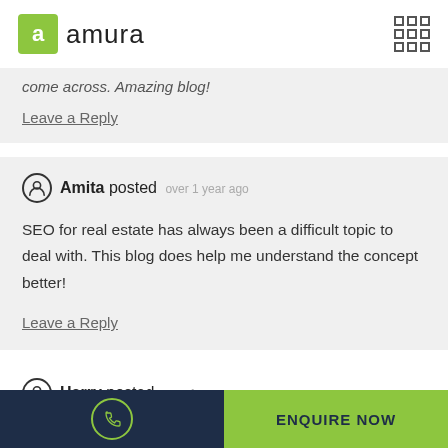amura
come across. Amazing blog!
Leave a Reply
Amita posted over 1 year ago
SEO for real estate has always been a difficult topic to deal with. This blog does help me understand the concept better!
Leave a Reply
Harry posted over 1 year ago
ENQUIRE NOW